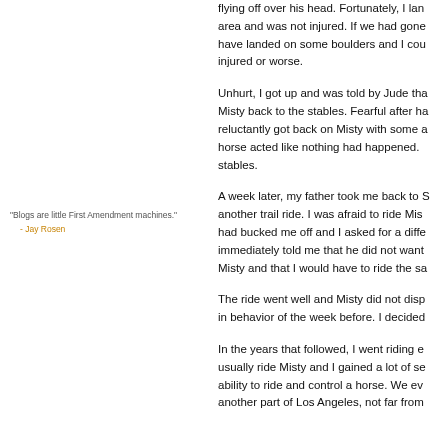flying off over his head. Fortunately, I landed in a grassy area and was not injured. If we had gone further I would have landed on some boulders and I could have been seriously injured or worse.

Unhurt, I got up and was told by Jude that I had to get Misty back to the stables. Fearful after having fallen off, I reluctantly got back on Misty with some assistance and the horse acted like nothing had happened. We returned to the stables.

A week later, my father took me back to S for another trail ride. I was afraid to ride Misty since she had bucked me off and I asked for a different horse. Jude immediately told me that he did not want anyone else riding Misty and that I would have to ride the same horse.

The ride went well and Misty did not display any of the in behavior of the week before. I decided

In the years that followed, I went riding e usually ride Misty and I gained a lot of se ability to ride and control a horse. We ev another part of Los Angeles, not far from
"Blogs are little First Amendment machines."
  - Jay Rosen